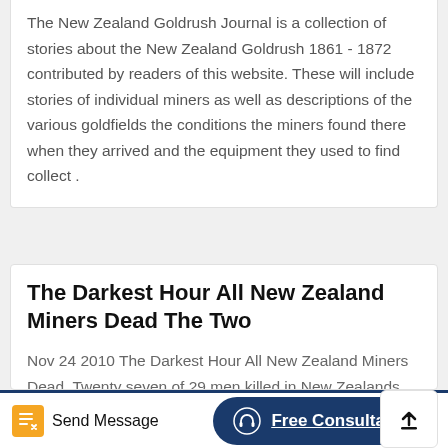The New Zealand Goldrush Journal is a collection of stories about the New Zealand Goldrush 1861 - 1872 contributed by readers of this website. These will include stories of individual miners as well as descriptions of the various goldfields the conditions the miners found there when they arrived and the equipment they used to find collect .
The Darkest Hour All New Zealand Miners Dead The Two
Nov 24 2010 The Darkest Hour All New Zealand Miners Dead. Twenty seven of 29 men killed in New Zealands Pike River coal mine. New Zealands TVNZ says a massive second explosion erupted today in the Pike .
Send Message | Free Consultation